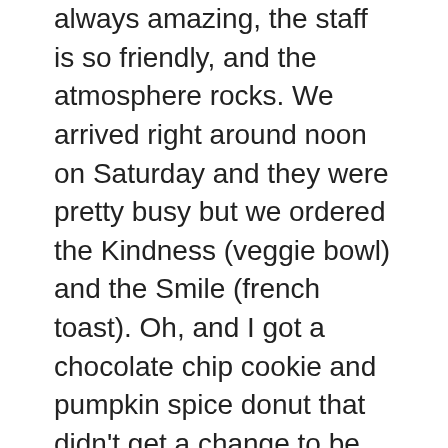always amazing, the staff is so friendly, and the atmosphere rocks. We arrived right around noon on Saturday and they were pretty busy but we ordered the Kindness (veggie bowl) and the Smile (french toast). Oh, and I got a chocolate chip cookie and pumpkin spice donut that didn't get a change to be photographed, yeah they were good.
I ordered the Kindness. I'm into vegetables pretty much anytime I'm not home so I went with this. I don't know why I'm not into veggies at home, it makes no sense. But I'll just start using it as an excuse to go to Amazing Cafe every single weekend and eat my veggies there.
Okay for real though, I don't know what the deal was but I'm not even kidding when I say that this